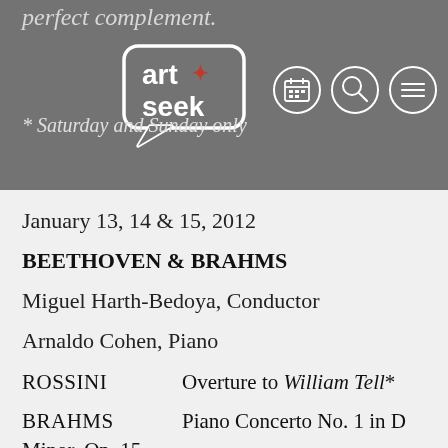perfect complement.
[Figure (logo): ArtSeek logo in white speech bubble on grey background]
* Saturday and Sunday only
January 13, 14 & 15, 2012
BEETHOVEN & BRAHMS
Miguel Harth-Bedoya, Conductor
Arnaldo Cohen, Piano
ROSSINI   Overture to William Tell*
BRAHMS   Piano Concerto No. 1 in D Minor, Op. 15